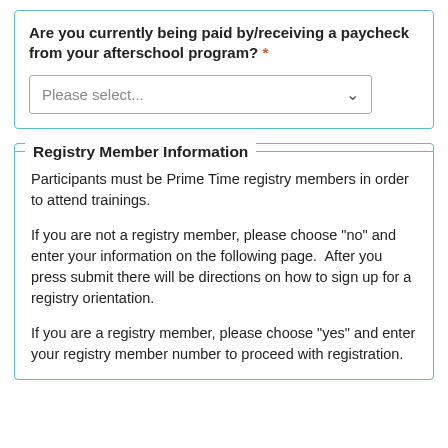Are you currently being paid by/receiving a paycheck from your afterschool program? *
[Figure (screenshot): Dropdown select input with placeholder text 'Please select...' and a chevron/arrow on the right]
Registry Member Information
Participants must be Prime Time registry members in order to attend trainings.
If you are not a registry member, please choose "no" and enter your information on the following page.  After you press submit there will be directions on how to sign up for a registry orientation.
If you are a registry member, please choose "yes" and enter your registry member number to proceed with registration.